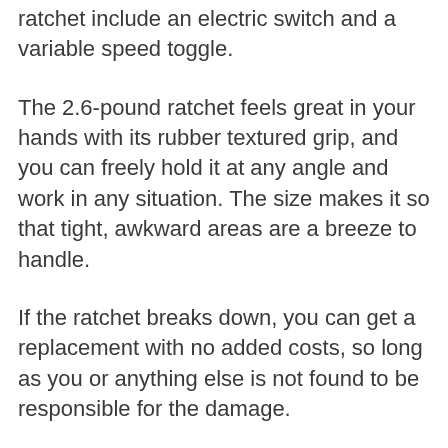ratchet include an electric switch and a variable speed toggle.
The 2.6-pound ratchet feels great in your hands with its rubber textured grip, and you can freely hold it at any angle and work in any situation. The size makes it so that tight, awkward areas are a breeze to handle.
If the ratchet breaks down, you can get a replacement with no added costs, so long as you or anything else is not found to be responsible for the damage.
While the power is present, and it shows once you try it, the rotations per